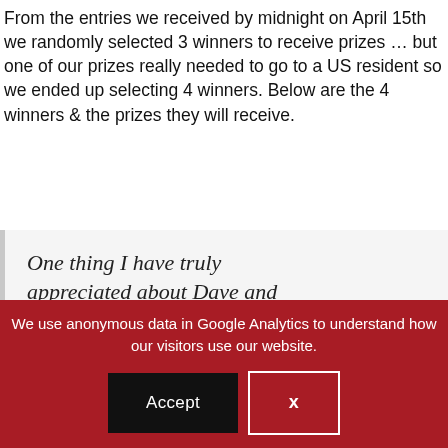From the entries we received by midnight on April 15th we randomly selected 3 winners to receive prizes … but one of our prizes really needed to go to a US resident so we ended up selecting 4 winners. Below are the 4 winners & the prizes they will receive.
One thing I have truly appreciated about Dave and Julie is that they do not make
We use anonymous data in Google Analytics to understand how our visitors use our website.